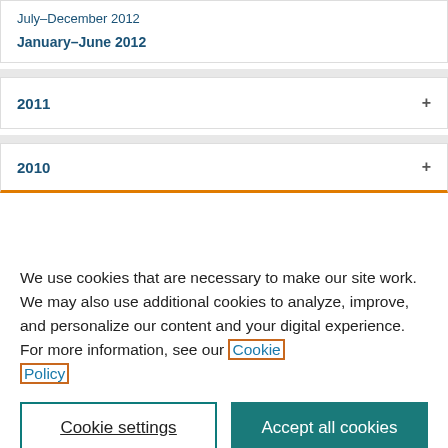July–December 2012
January–June 2012
2011
2010
We use cookies that are necessary to make our site work. We may also use additional cookies to analyze, improve, and personalize our content and your digital experience. For more information, see our Cookie Policy
Cookie settings
Accept all cookies